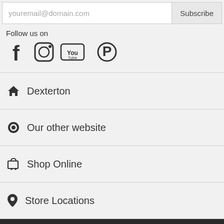youremail@domain.com  Subscribe
Follow us on
[Figure (other): Social media icons: Facebook, Instagram, YouTube, Pinterest]
Dexterton
Our other website
Shop Online
Store Locations
Contact Us
Dexterton Corporation uses cookies so that we can remember you and understand how you use our site. For further details, see our privacy policy and cookie policy.
© Copyright 1995 - 2022 Dexterton...